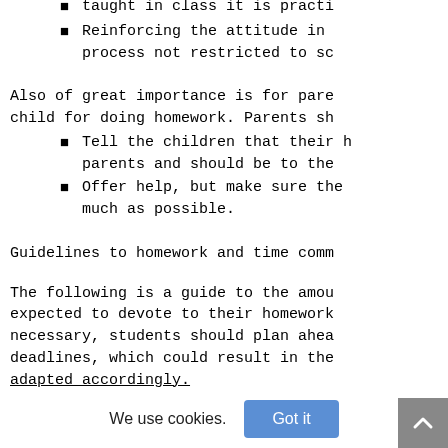taught in class it is practi
Reinforcing the attitude in process not restricted to sc
Also of great importance is for pare child for doing homework. Parents sh
Tell the children that their h parents and should be to the
Offer help, but make sure the much as possible.
Guidelines to homework and time comm
The following is a guide to the amou expected to devote to their homework necessary, students should plan ahea deadlines, which could result in the adapted accordingly.
We use cookies.